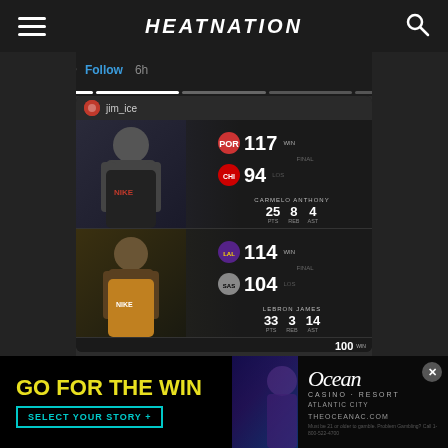HEATNATION
[Figure (screenshot): Instagram story post by user 'cp3' showing a sports scores graphic by 'jim_ice'. Top card: Portland Trail Blazers 117 vs Chicago Bulls 94 — Carmelo Anthony: 25 PTS, 8 REB, 4 AST. Second card: Lakers 114 vs Spurs 104 — LeBron James: 33 PTS, 3 REB, 14 AST. Third card partially visible showing 100.]
[Figure (photo): Advertisement banner for Ocean Casino Resort Atlantic City with tagline GO FOR THE WIN and SELECT YOUR STORY + button, alongside people in a casino setting and Ocean Casino Resort logo with THEOCEANAC.COM]